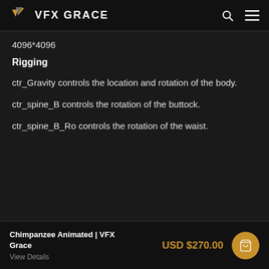VFX GRACE
4096*4096
Rigging
ctr_Gravity controls the location and rotation of the body.
ctr_spine_B controls the rotation of the buttock.
ctr_spine_B_Ro controls the rotation of the waist.
Chimpanzee Animated | VFX Grace | View Details | USD $270.00